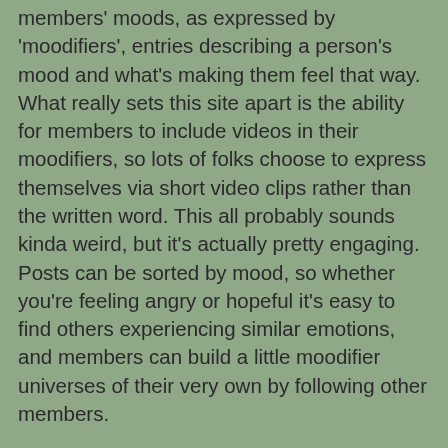members' moods, as expressed by 'moodifiers', entries describing a person's mood and what's making them feel that way. What really sets this site apart is the ability for members to include videos in their moodifiers, so lots of folks choose to express themselves via short video clips rather than the written word. This all probably sounds kinda weird, but it's actually pretty engaging. Posts can be sorted by mood, so whether you're feeling angry or hopeful it's easy to find others experiencing similar emotions, and members can build a little moodifier universes of their very own by following other members.
I personally feel much more comfortable behind the camera than in front of it, but the ability to just sit at of your WebCam and describe whatever emotions life and MS happen to be throwing at you at any particular moment does have its appeal. Unfortunately, these days I'm afraid I often look like one of the zombies in those bad flicks I love so much, and my WebCam would scurry off in horror if I ever turned it on when I'm in such a state. Good thing Rick from The Walking Dead hasn't chanced upon me, otherwise I'd definitely have a knife sticking out of my head. Still, just having the option to communicate by video makes My Counterpane unique, and